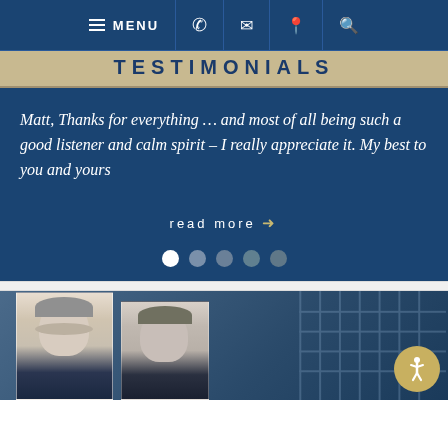MENU (navigation bar with phone, email, location, search icons)
TESTIMONIALS
Matt, Thanks for everything … and most of all being such a good listener and calm spirit – I really appreciate it. My best to you and yours
read more →
[Figure (other): Carousel pagination dots — 5 dots, first white (active), rest grey-blue]
[Figure (photo): Bottom section with two professional headshot photos of men in suits against a blurred office building background, with an accessibility icon in the bottom right corner]